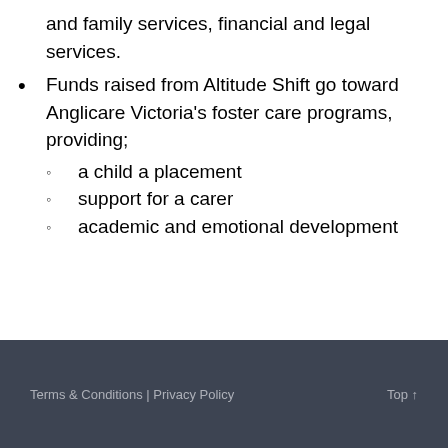and family services, financial and legal services.
Funds raised from Altitude Shift go toward Anglicare Victoria's foster care programs, providing; a child a placement, support for a carer, academic and emotional development
Terms & Conditions | Privacy Policy    Top ↑